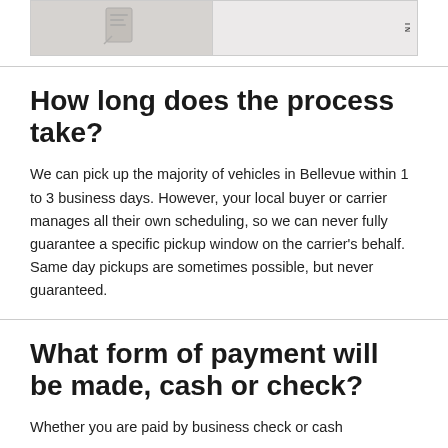[Figure (photo): Two images side by side inside a bordered box: left shows a partial document/form image, right shows another document image with rotated text.]
How long does the process take?
We can pick up the majority of vehicles in Bellevue within 1 to 3 business days. However, your local buyer or carrier manages all their own scheduling, so we can never fully guarantee a specific pickup window on the carrier's behalf. Same day pickups are sometimes possible, but never guaranteed.
What form of payment will be made, cash or check?
Whether you are paid by business check or cash